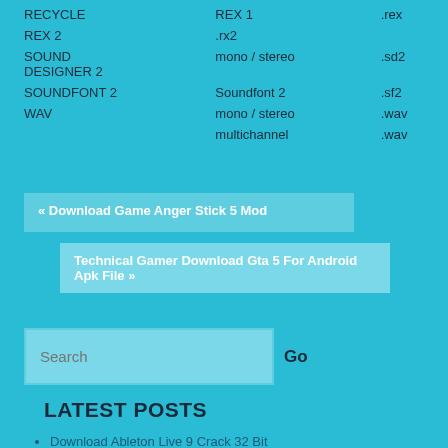| RECYCLE | REX 1 | .rex |
| REX 2 | .rx2 |  |
| SOUND DESIGNER 2 | mono / stereo | .sd2 |
| SOUNDFONT 2 | Soundfont 2 | .sf2 |
| WAV | mono / stereo | .wav |
|  | multichannel | .wav |
« Download Game Anger Stick 5 Mod
Technical Gamer Download Gta 5 For Android Apk File »
Search
LATEST POSTS
Download Ableton Live 9 Crack 32 Bit